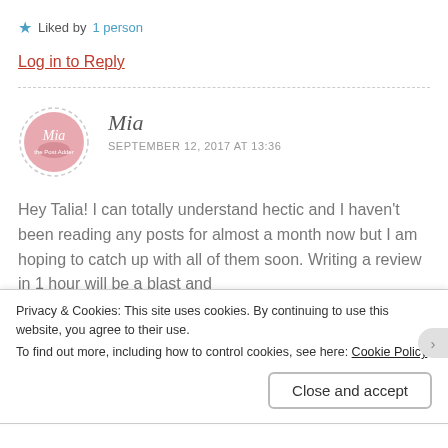★ Liked by 1 person
Log in to Reply
[Figure (logo): Circular avatar logo for 'Mia the Post Adder' blog, pink/rose colored with cursive text]
Mia
SEPTEMBER 12, 2017 AT 13:36
Hey Talia! I can totally understand hectic and I haven't been reading any posts for almost a month now but I am hoping to catch up with all of them soon. Writing a review in 1 hour will be a blast and
Privacy & Cookies: This site uses cookies. By continuing to use this website, you agree to their use.
To find out more, including how to control cookies, see here: Cookie Policy
Close and accept